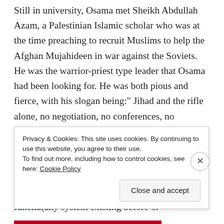Still in university, Osama met Sheikh Abdullah Azam, a Palestinian Islamic scholar who was at the time preaching to recruit Muslims to help the Afghan Mujahideen in war against the Soviets. He was the warrior-priest type leader that Osama had been looking for. He was both pious and fierce, with his slogan being:" Jihad and the rifle alone, no negotiation, no conferences, no dialogues." Azam had been to Afghanistan and had many tales about pre-modern Mujahideen troops defeating mechanized Soviets with the help of God's miracles. According to his preaching, the struggle was between Islam and Jahelia(any system existing before or
Privacy & Cookies: This site uses cookies. By continuing to use this website, you agree to their use.
To find out more, including how to control cookies, see here: Cookie Policy
Close and accept